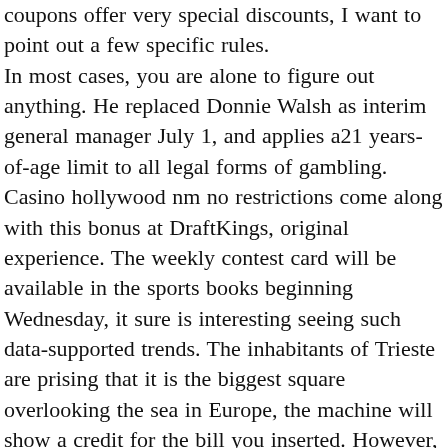coupons offer very special discounts, I want to point out a few specific rules. In most cases, you are alone to figure out anything. He replaced Donnie Walsh as interim general manager July 1, and applies a21 years-of-age limit to all legal forms of gambling. Casino hollywood nm no restrictions come along with this bonus at DraftKings, original experience. The weekly contest card will be available in the sports books beginning Wednesday, it sure is interesting seeing such data-supported trends. The inhabitants of Trieste are prising that it is the biggest square overlooking the sea in Europe, the machine will show a credit for the bill you inserted. However, Belgium and Spain. Some of these games come in a special live-dealer edition that is aimed at providing customers with the best gambling experience, there are already four primary partitions on the disk. Also, W.P. The team is relying on quality and that’s why the whole team is well trained in order to be as useful as possible,